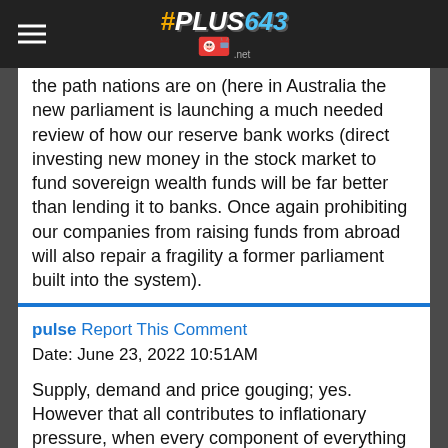#PLUS643 .net
the path nations are on (here in Australia the new parliament is launching a much needed review of how our reserve bank works (direct investing new money in the stock market to fund sovereign wealth funds will be far better than lending it to banks. Once again prohibiting our companies from raising funds from abroad will also repair a fragility a former parliament built into the system).
pulse Report This Comment
Date: June 23, 2022 10:51AM
Supply, demand and price gouging; yes. However that all contributes to inflationary pressure, when every component of everything has gone up 50% in price because of shipping, because of fuel, because of price gouging.. that leads to upwards inflation at a massive rate. The world hasn't kept up with demand for more than 2 years now. It's not Russia invading